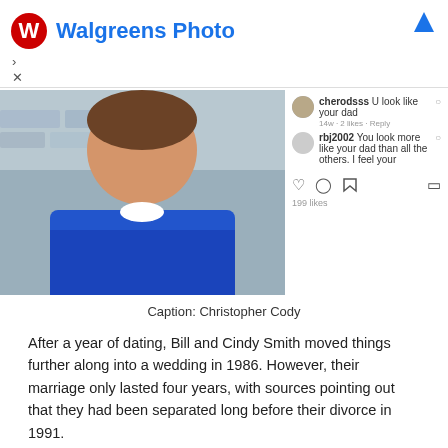[Figure (screenshot): Walgreens Photo advertisement banner with red logo and blue text]
[Figure (photo): Instagram post showing Christopher Cody, a young man in a blue shirt, with comments saying 'U look like your dad' visible in the sidebar]
Caption: Christopher Cody
After a year of dating, Bill and Cindy Smith moved things further along into a wedding in 1986. However, their marriage only lasted four years, with sources pointing out that they had been separated long before their divorce in 1991.
Back in 1990, Bill lived in his neighbor's car while trying to secure a recording contract in Los Angeles. This also followed their separation with Cindy Smith that forced him to face a lot of hardship in life. Most sources point out that the reasons for the divorce were Ray's newfound fame.